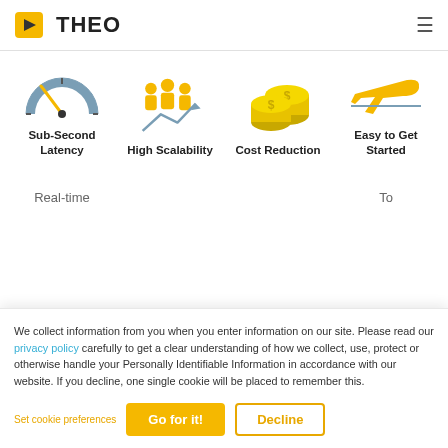THEO (logo and navigation bar)
[Figure (illustration): Four feature icons in a row: speedometer (Sub-Second Latency), group of people with growth arrow (High Scalability), stacked coins with dollar signs (Cost Reduction), airplane taking off (Easy to Get Started)]
Sub-Second Latency
High Scalability
Cost Reduction
Easy to Get Started
Real-time
To
We collect information from you when you enter information on our site. Please read our privacy policy carefully to get a clear understanding of how we collect, use, protect or otherwise handle your Personally Identifiable Information in accordance with our website. If you decline, one single cookie will be placed to remember this.
Set cookie preferences
Go for it!
Decline